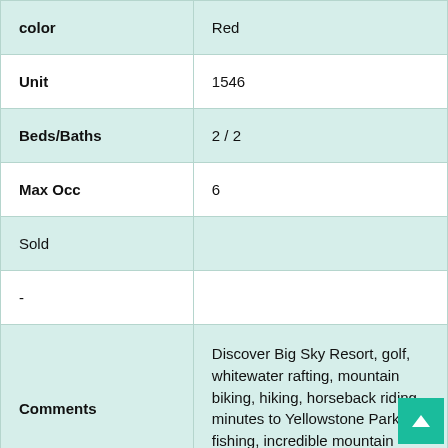| Field | Value |
| --- | --- |
| color | Red |
| Unit | 1546 |
| Beds/Baths | 2 / 2 |
| Max Occ | 6 |
| Sold |  |
| - |  |
| Comments | Discover Big Sky Resort, golf, whitewater rafting, mountain biking, hiking, horseback riding, minutes to Yellowstone Park, fly fishing, incredible mountain vistas, clean... |